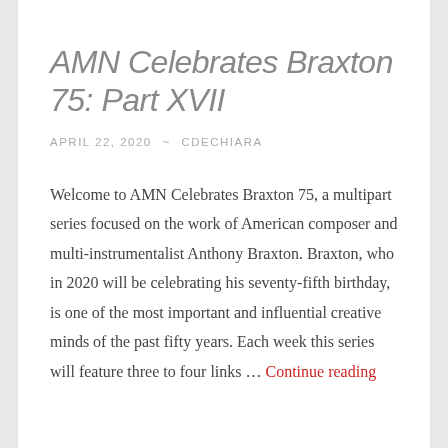AMN Celebrates Braxton 75: Part XVII
APRIL 22, 2020 ~ CDECHIARA
Welcome to AMN Celebrates Braxton 75, a multipart series focused on the work of American composer and multi-instrumentalist Anthony Braxton. Braxton, who in 2020 will be celebrating his seventy-fifth birthday, is one of the most important and influential creative minds of the past fifty years. Each week this series will feature three to four links … Continue reading